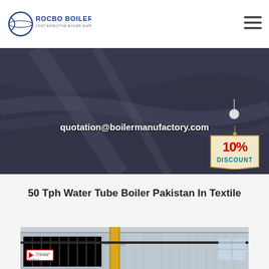[Figure (logo): Rocbo Boiler logo with crescent/globe icon and text 'ROCBO BOILER / COST-EFFECTIVE BOILER SUPPLIER' in blue and dark blue]
quotation@boilermanufactory.com
[Figure (illustration): 10% DISCOUNT badge/tag with red text on beige tag with string]
50 Tph Water Tube Boiler Pakistan In Textile
[Figure (photo): Industrial water tube boiler installation inside a factory building with large cylindrical boiler units, yellow pipes, overhead structural beams, and Chinese text signage]